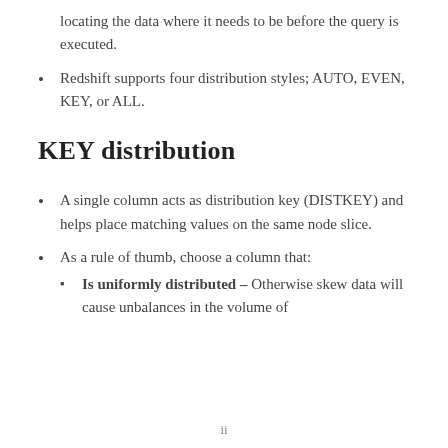locating the data where it needs to be before the query is executed.
Redshift supports four distribution styles; AUTO, EVEN, KEY, or ALL.
KEY distribution
A single column acts as distribution key (DISTKEY) and helps place matching values on the same node slice.
As a rule of thumb, choose a column that:
Is uniformly distributed – Otherwise skew data will cause unbalances in the volume of
ii